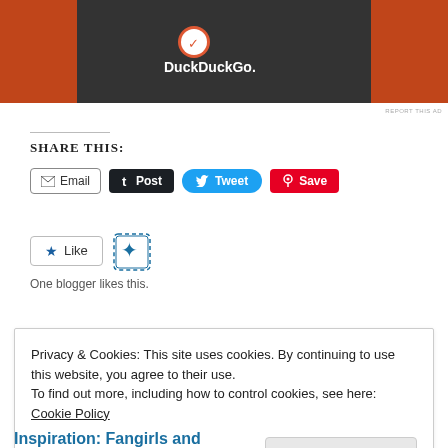[Figure (screenshot): DuckDuckGo advertisement banner with dark center panel showing DuckDuckGo logo and text, flanked by orange panels]
REPORT THIS AD
SHARE THIS:
Email  Post  Tweet  Save
[Figure (other): Like button with star icon and WordPress like widget showing 'One blogger likes this.']
One blogger likes this.
Related
Privacy & Cookies: This site uses cookies. By continuing to use this website, you agree to their use.
To find out more, including how to control cookies, see here:
Cookie Policy
Close and accept
Inspiration: Fangirls and